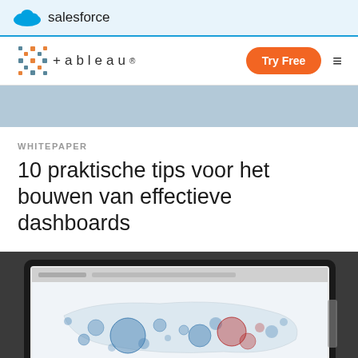salesforce
[Figure (logo): Tableau logo with colorful grid icon and wordmark, plus Try Free button and hamburger menu]
[Figure (illustration): Light blue-gray hero banner strip]
WHITEPAPER
10 praktische tips voor het bouwen van effectieve dashboards
[Figure (photo): Laptop screen showing a Tableau bubble/scatter map visualization with blue and red bubbles representing data across a map]